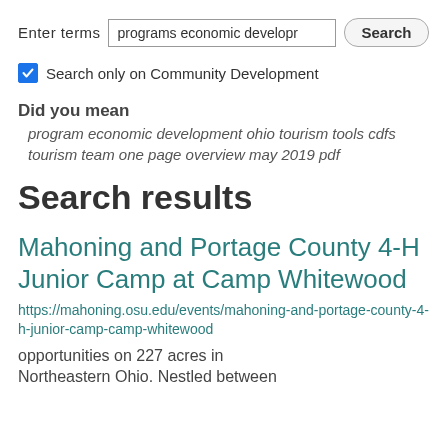Enter terms  [programs economic developr]  Search
Search only on Community Development
Did you mean
program economic development ohio tourism tools cdfs tourism team one page overview may 2019 pdf
Search results
Mahoning and Portage County 4-H Junior Camp at Camp Whitewood
https://mahoning.osu.edu/events/mahoning-and-portage-county-4-h-junior-camp-camp-whitewood
opportunities on 227 acres in Northeastern Ohio. Nestled between